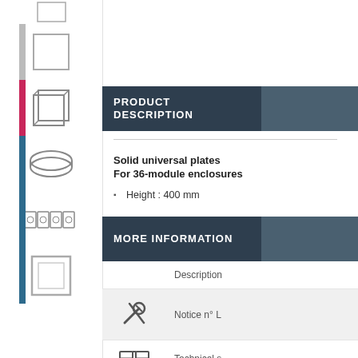[Figure (illustration): Left sidebar with product category icons: square outline, square with outer frame, 3D box/enclosure, circular flat item, row of small squares (DIN rail), and empty square frame. Pink and blue accent bars highlight active categories.]
PRODUCT DESCRIPTION
Solid universal plates
For 36-module enclosures
Height : 400 mm
MORE INFORMATION
|  | Description |
| --- | --- |
| [tools icon] | Notice n° L... |
| [book icon] | Technical s... F02370EN-... |